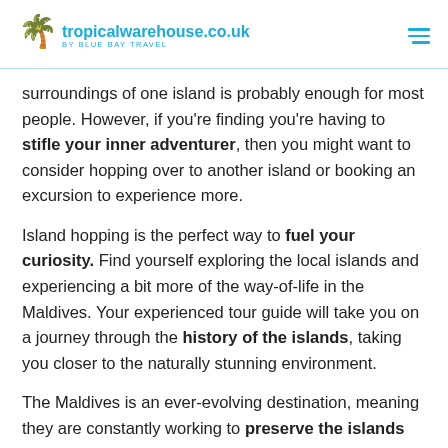tropicalwarehouse.co.uk BY BLUE BAY TRAVEL
surroundings of one island is probably enough for most people. However, if you're finding you're having to stifle your inner adventurer, then you might want to consider hopping over to another island or booking an excursion to experience more.
Island hopping is the perfect way to fuel your curiosity. Find yourself exploring the local islands and experiencing a bit more of the way-of-life in the Maldives. Your experienced tour guide will take you on a journey through the history of the islands, taking you closer to the naturally stunning environment.
The Maldives is an ever-evolving destination, meaning they are constantly working to preserve the islands as